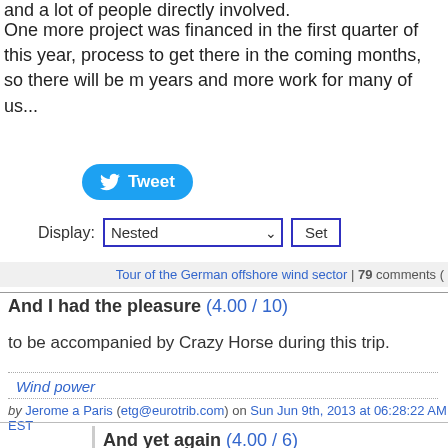and a lot of people directly involved.
One more project was financed in the first quarter of this year, process to get there in the coming months, so there will be more years and more work for many of us...
[Figure (other): Tweet button (blue rounded rectangle with Twitter bird icon and 'Tweet' text)]
Display: Nested [dropdown] Set [button]
Tour of the German offshore wind sector | 79 comments (
And I had the pleasure (4.00 / 10)
to be accompanied by Crazy Horse during this trip.
Wind power
by Jerome a Paris (etg@eurotrib.com) on Sun Jun 9th, 2013 at 06:28:22 AM EST
And yet again (4.00 / 6)
you post a picture of yourself with something growing out of your h
That map at the start of the diary is fascinating.